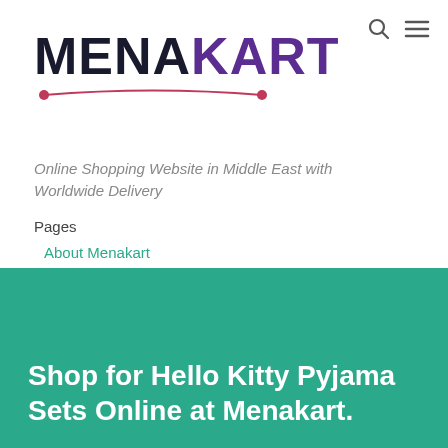[Figure (logo): Menakart logo with MENA in dark navy and KART in purple, with a pink curved underline with dots]
Online Shopping Website in Middle East with Worldwide Delivery
Pages
About Menakart
Shop for Hello Kitty Pyjama Sets Online at Menakart.